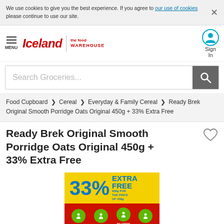We use cookies to give you the best experience. If you agree to our use of cookies please continue to use our site.
Iceland | the food WAREHOUSE — MENU — Sign In — Search Groceries...
Food Cupboard > Cereal > Everyday & Family Cereal > Ready Brek Original Smooth Porridge Oats Original 450g + 33% Extra Free
Ready Brek Original Smooth Porridge Oats Original 450g + 33% Extra Free
[Figure (photo): Ready Brek product packaging showing '33% EXTRA FREE' promotional label in yellow and blue, with red background showing product benefits icons.]